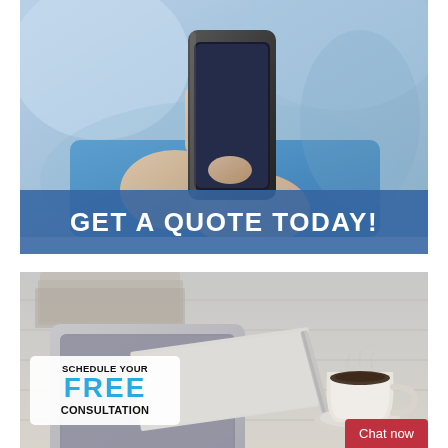[Figure (photo): Close-up of person in blue jacket holding a smartphone in both hands]
GET A QUOTE TODAY!
[Figure (photo): Desk scene with tablet, pen, papers and a cup of coffee on a white wooden surface]
SCHEDULE YOUR FREE CONSULTATION
Chat now